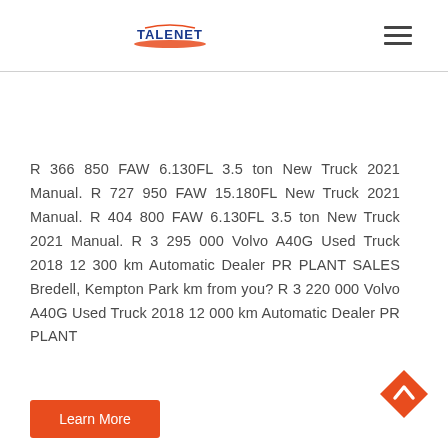TALENET
R 366 850 FAW 6.130FL 3.5 ton New Truck 2021 Manual. R 727 950 FAW 15.180FL New Truck 2021 Manual. R 404 800 FAW 6.130FL 3.5 ton New Truck 2021 Manual. R 3 295 000 Volvo A40G Used Truck 2018 12 300 km Automatic Dealer PR PLANT SALES Bredell, Kempton Park km from you? R 3 220 000 Volvo A40G Used Truck 2018 12 000 km Automatic Dealer PR PLANT
Learn More